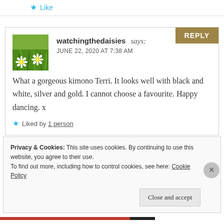★ Like
[Figure (photo): Avatar image showing daisies and green grass]
watchingthedaisies says:
JUNE 22, 2020 AT 7:38 AM
What a gorgeous kimono Terri. It looks well with black and white, silver and gold. I cannot choose a favourite. Happy dancing. x
★ Liked by 1 person
Privacy & Cookies: This site uses cookies. By continuing to use this website, you agree to their use.
To find out more, including how to control cookies, see here: Cookie Policy
Close and accept